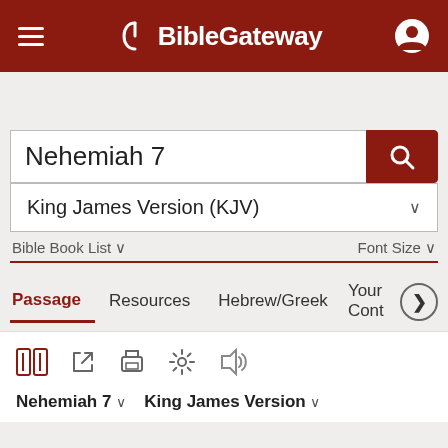BibleGateway
Nehemiah 7
King James Version (KJV)
Bible Book List   Font Size
Passage   Resources   Hebrew/Greek   Your Cont
Nehemiah 7   King James Version